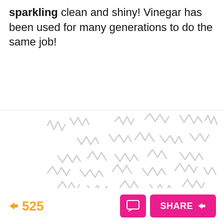sparkling clean and shiny! Vinegar has been used for many generations to do the same job!
[Figure (illustration): A decorative pattern of light gray zigzag/squiggle shapes scattered across a white background, resembling a textile or wallpaper pattern.]
525   [comment button]   SHARE